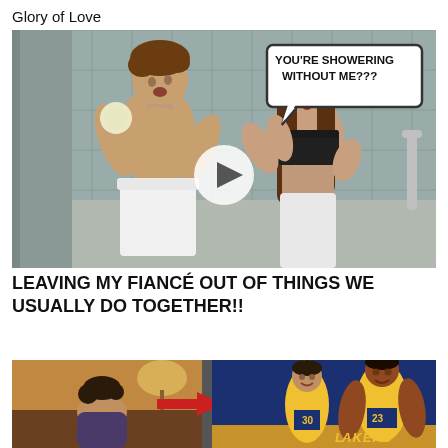Glory of Love
[Figure (photo): Video thumbnail showing a man in a towel showering and a woman in workout clothes grabbing him with a speech bubble saying 'YOU'RE SHOWERING WITHOUT ME???' and a play button overlay]
LEAVING MY FIANCÉ OUT OF THINGS WE USUALLY DO TOGETHER!!
[Figure (photo): Video thumbnail showing a before/after split image with a person on left and two Lakers players (in yellow uniforms) on the right with a red arrow pointing right]